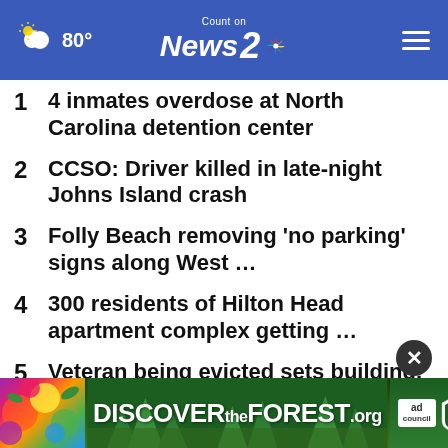80° Count on News 2
1  4 inmates overdose at North Carolina detention center
2  CCSO: Driver killed in late-night Johns Island crash
3  Folly Beach removing 'no parking' signs along West …
4  300 residents of Hilton Head apartment complex getting …
5  Veteran being evicted sets building, camper on fire, …
6  N… right a…
[Figure (screenshot): DISCOVERtheFOREST.org advertisement banner with ad council and USFS logos]